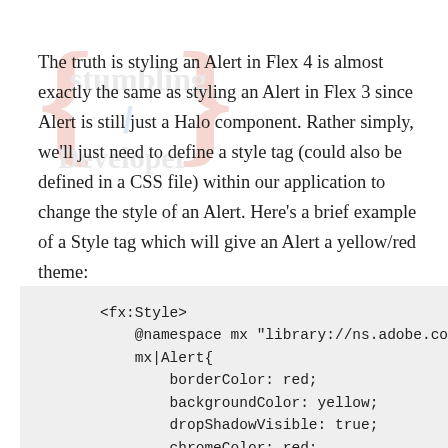[Figure (illustration): Watermark with curly braces in red and text 'stumbling' and 'Developer' in gray, with a blue slash symbol]
The truth is styling an Alert in Flex 4 is almost exactly the same as styling an Alert in Flex 3 since Alert is still just a Halo component. Rather simply, we'll just need to define a style tag (could also be defined in a CSS file) within our application to change the style of an Alert. Here's a brief example of a Style tag which will give an Alert a yellow/red theme:
<fx:Style>
    @namespace mx "library://ns.adobe.com
    mx|Alert{
        borderColor: red;
        backgroundColor: yellow;
        dropShadowVisible: true;
        chromeColor: red;
        titleStyleName: alertTitle;